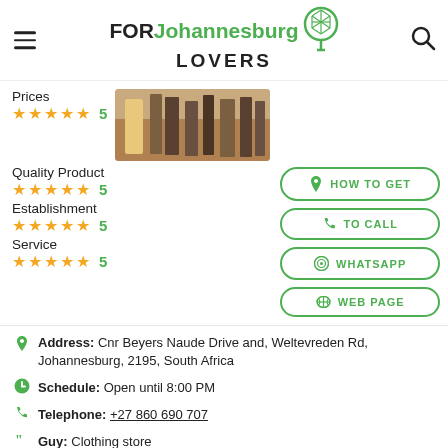FOR Johannesburg LOVERS
Prices ★★★★★ 5
Quality Product ★★★★★ 5
Establishment ★★★★★ 5
Service ★★★★★ 5
[Figure (photo): Interior of a clothing store showing racks with clothes]
HOW TO GET
TO CALL
WHATSAPP
WEB PAGE
Address: Cnr Beyers Naude Drive and, Weltevreden Rd, Johannesburg, 2195, South Africa
Schedule: Open until 8:00 PM
Telephone: +27 860 690 707
Guy: Clothing store